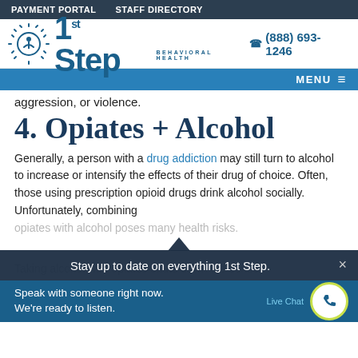PAYMENT PORTAL   STAFF DIRECTORY
[Figure (logo): 1st Step Behavioral Health logo with sun/person icon, blue text, phone number (888) 693-1246]
MENU ≡
aggression, or violence.
4. Opiates + Alcohol
Generally, a person with a drug addiction may still turn to alcohol to increase or intensify the effects of their drug of choice. Often, those using prescription opioid drugs drink alcohol socially. Unfortunately, combining opiates with alcohol poses many health risks.
Stay up to date on everything 1st Step.
Taking alcohol with opiates shuts down the central
Speak with someone right now. We're ready to listen.